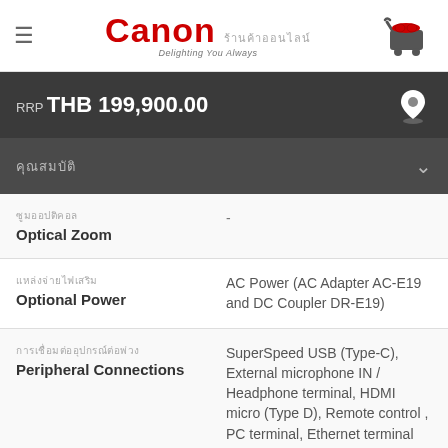Canon ร้านค้าออนไลน์ — Delighting You Always
RRP THB 199,900.00
คุณสมบัติ
ซูมออปติคอล / Optical Zoom : -
แหล่งจ่ายไฟเสริม / Optional Power : AC Power (AC Adapter AC-E19 and DC Coupler DR-E19)
การเชื่อมต่ออุปกรณ์ต่อพ่วง / Peripheral Connections : SuperSpeed USB (Type-C), External microphone IN / Headphone terminal, HDMI micro (Type D), Remote control , PC terminal, Ethernet terminal (RJ-45)